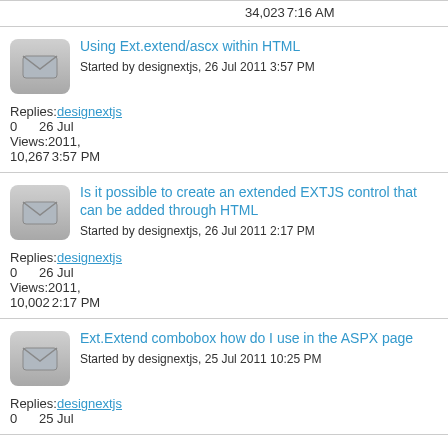34,023 7:16 AM
Using Ext.extend/ascx within HTML
Started by designextjs, 26 Jul 2011 3:57 PM
Replies: 0  designextjs  26 Jul
Views: 10,267  2011, 3:57 PM
Is it possible to create an extended EXTJS control that can be added through HTML
Started by designextjs, 26 Jul 2011 2:17 PM
Replies: 0  designextjs  26 Jul
Views: 10,002  2011, 2:17 PM
Ext.Extend combobox how do I use in the ASPX page
Started by designextjs, 25 Jul 2011 10:25 PM
Replies: 0  designextjs  25 Jul